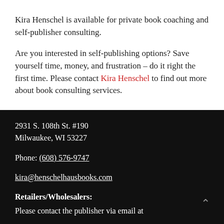Kira Henschel is available for private book coaching and self-publisher consulting.
Are you interested in self-publishing options? Save yourself time, money, and frustration – do it right the first time. Please contact Kira Henschel to find out more about book consulting services.
2931 S. 108th St. #190
Milwaukee, WI 53227
Phone: (608) 576-9747
kira@henschelhausbooks.com
Retailers/Wholesalers:
Please contact the publisher via email at